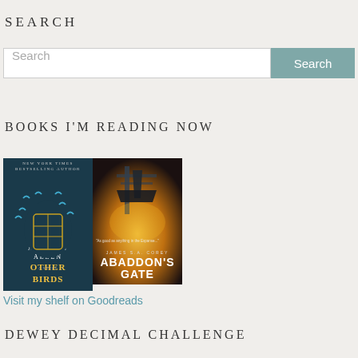SEARCH
[Figure (screenshot): Search bar input field with placeholder text 'Search' and a teal 'Search' button on the right]
BOOKS I'M READING NOW
[Figure (photo): Book cover of 'Other Birds' by Sarah Addison Allen — dark teal background with birds and a birdcage]
[Figure (photo): Book cover of 'Abaddon's Gate' — sci-fi space scene with dramatic yellow/orange lighting and title in large white letters]
Visit my shelf on Goodreads
DEWEY DECIMAL CHALLENGE